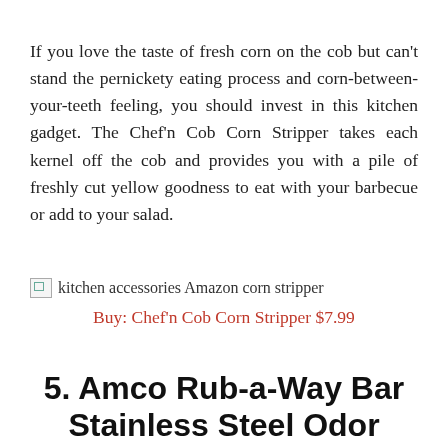If you love the taste of fresh corn on the cob but can't stand the pernickety eating process and corn-between-your-teeth feeling, you should invest in this kitchen gadget. The Chef'n Cob Corn Stripper takes each kernel off the cob and provides you with a pile of freshly cut yellow goodness to eat with your barbecue or add to your salad.
[Figure (photo): Broken image placeholder with alt text: kitchen accessories Amazon corn stripper]
Buy: Chef'n Cob Corn Stripper $7.99
5. Amco Rub-a-Way Bar Stainless Steel Odor